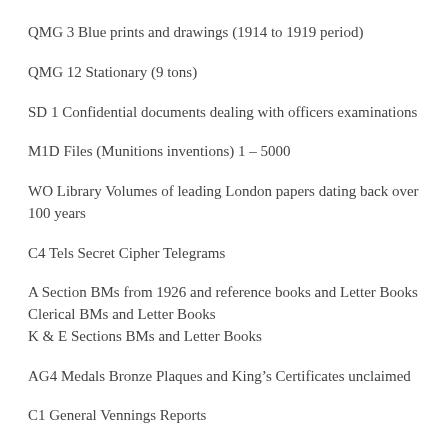QMG 3 Blue prints and drawings (1914 to 1919 period)
QMG 12 Stationary (9 tons)
SD 1 Confidential documents dealing with officers examinations
M1D Files (Munitions inventions) 1 – 5000
WO Library Volumes of leading London papers dating back over 100 years
C4 Tels Secret Cipher Telegrams
A Section BMs from 1926 and reference books and Letter Books
Clerical BMs and Letter Books
K & E Sections BMs and Letter Books
AG4 Medals Bronze Plaques and King's Certificates unclaimed
C1 General Vennings Reports